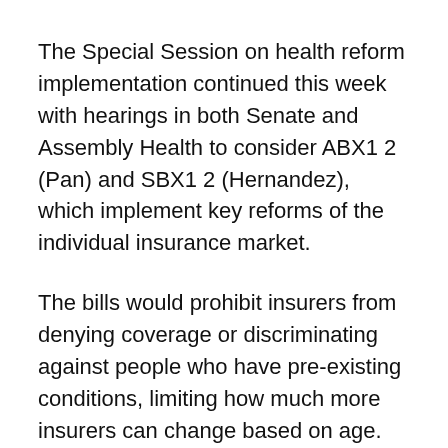The Special Session on health reform implementation continued this week with hearings in both Senate and Assembly Health to consider ABX1 2 (Pan) and SBX1 2 (Hernandez), which implement key reforms of the individual insurance market.
The bills would prohibit insurers from denying coverage or discriminating against people who have pre-existing conditions, limiting how much more insurers can change based on age.  The bills also phase-in new insurance market rules.
In Assembly Health Committee on Tuesday, SBX1 2 (Hernandez) passed out of committee on a party